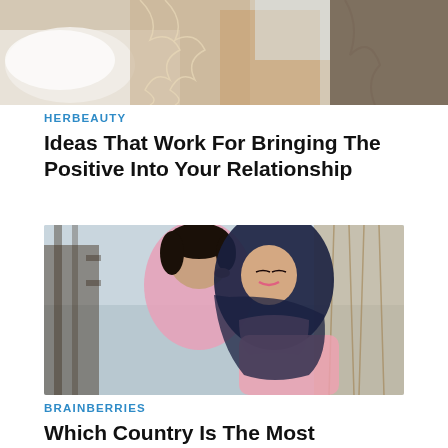[Figure (photo): Top portion of a photo showing a woman in a white lace dress, partially cropped, indoor setting with pillows and curtains]
HERBEAUTY
Ideas That Work For Bringing The Positive Into Your Relationship
[Figure (photo): A couple outdoors; a man in a pink shirt kissing a woman wearing a dark navy hijab and a pink top on the forehead, both sitting together with dried plants in background]
BRAINBERRIES
Which Country Is The Most Romantic In The